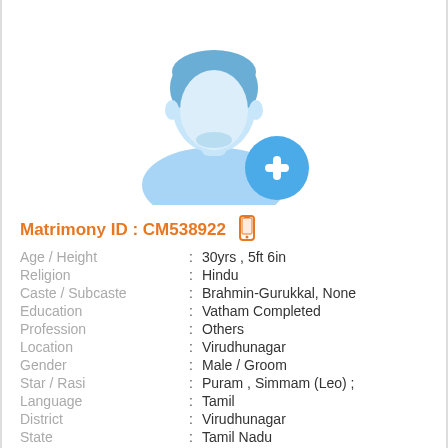[Figure (illustration): Placeholder male profile silhouette icon in blue, with a blue circle containing a white plus sign in the bottom right]
Matrimony ID : CM538922
| Age / Height | : | 30yrs , 5ft 6in |
| Religion | : | Hindu |
| Caste / Subcaste | : | Brahmin-Gurukkal, None |
| Education | : | Vatham Completed |
| Profession | : | Others |
| Location | : | Virudhunagar |
| Gender | : | Male / Groom |
| Star / Rasi | : | Puram , Simmam (Leo) ; |
| Language | : | Tamil |
| District | : | Virudhunagar |
| State | : | Tamil Nadu |